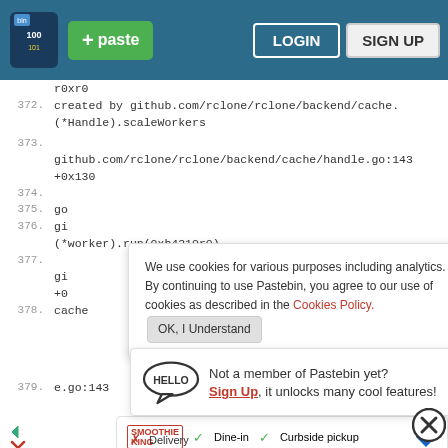[Figure (screenshot): Pastebin website screenshot showing header bar with logo, paste button, login and sign up buttons, code content area with line numbers, cookie consent overlay, sign up popup, and advertisement banner.]